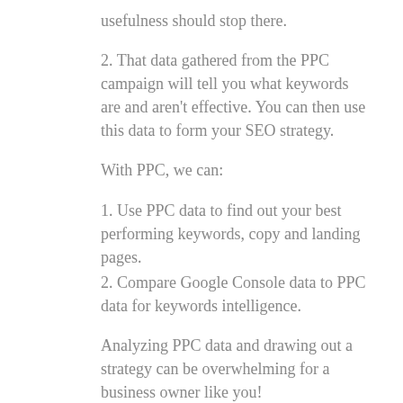usefulness should stop there.
2. That data gathered from the PPC campaign will tell you what keywords are and aren't effective. You can then use this data to form your SEO strategy.
With PPC, we can:
1. Use PPC data to find out your best performing keywords, copy and landing pages.
2. Compare Google Console data to PPC data for keywords intelligence.
Analyzing PPC data and drawing out a strategy can be overwhelming for a business owner like you!
That's why we're here to help.
Contact us to learn more about how to use PPC hand-in-hand with SEO to grow your website and your sales!